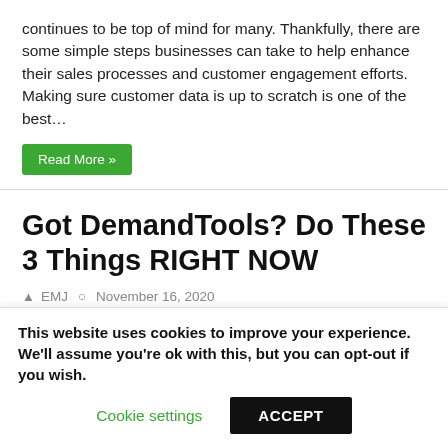continues to be top of mind for many. Thankfully, there are some simple steps businesses can take to help enhance their sales processes and customer engagement efforts. Making sure customer data is up to scratch is one of the best…
Read More »
Got DemandTools? Do These 3 Things RIGHT NOW
EMJ  November 16, 2020  Blog, CRM Data Administration, Data Quality, Demand Tools, ReturnPath  0
[Figure (photo): Black bar image banner]
This website uses cookies to improve your experience. We'll assume you're ok with this, but you can opt-out if you wish.
Cookie settings  ACCEPT